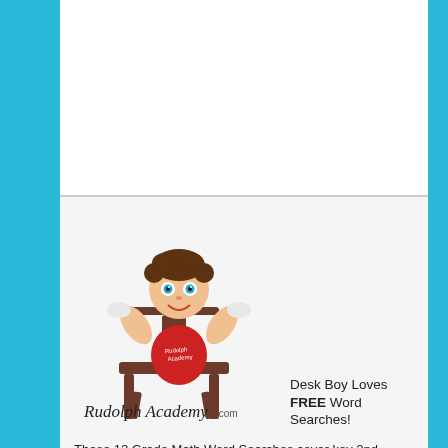[Figure (illustration): Rudolph Academy logo showing a cartoon boy in a red shirt jumping up from a school desk chair with arms raised, above the text 'Rudolph Academy.com' in cursive script]
Desk Boy Loves FREE Word Searches!
These 12 Grade Math Word Searches cover key 2nd Grade Common Core Math Vocabulary Terms that all 2nd Graders need to know and master. Each 2nd Grade Math Word Search